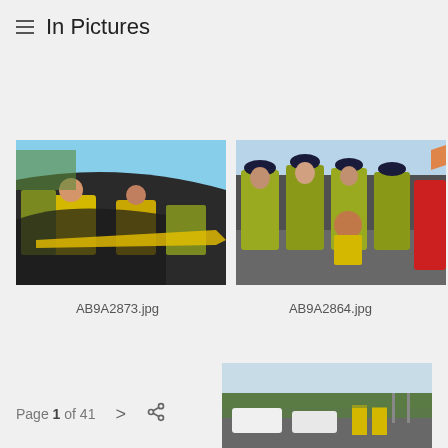In Pictures
[Figure (photo): Police officers and protesters in hi-vis jackets next to a yellow vehicle, fisheye perspective. Filename: AB9A2873.jpg]
AB9A2873.jpg
[Figure (photo): Multiple police officers in hi-vis vests surrounding a seated protester in a yellow t-shirt, with other protesters visible. Filename: AB9A2864.jpg]
AB9A2864.jpg
[Figure (photo): Partial view of a road scene with vehicles and protesters, partially visible at the bottom of the page.]
Page 1 of 41